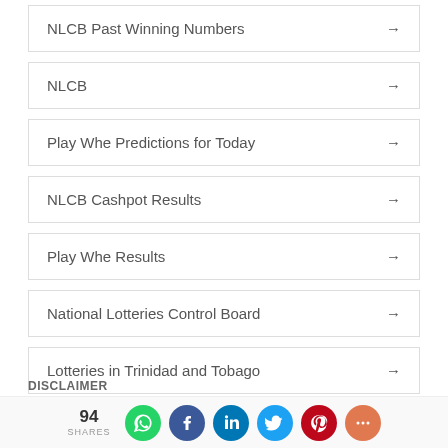NLCB Past Winning Numbers →
NLCB →
Play Whe Predictions for Today →
NLCB Cashpot Results →
Play Whe Results →
National Lotteries Control Board →
Lotteries in Trinidad and Tobago →
DISCLAIMER
94 SHARES | WhatsApp | Facebook | LinkedIn | Twitter | Pinterest | More